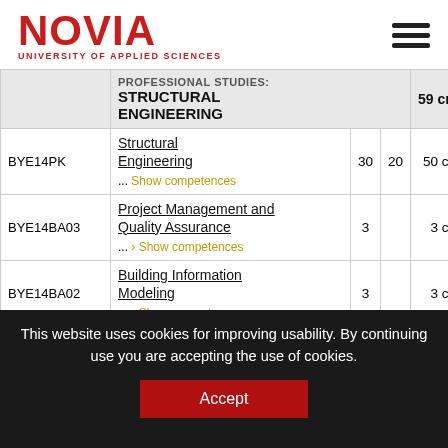NOVIA UNIVERSITY OF APPLIED SCIENCES
| Code | Course Name |  |  | Credits |
| --- | --- | --- | --- | --- |
|  | PROFESSIONAL STUDIES: STRUCTURAL ENGINEERING |  |  | 59 cr |
| BYE14PK | Structural Engineering ... Show competences | 30 | 20 | 50 cr |
| BYE14BA03 | Project Management and Quality Assurance ... › Show competences | 3 |  | 3 cr |
| BYE14BA02 | Building Information Modeling ... › Show competences | 3 |  | 3 cr |
| BYE14PK01 | Environmental Engineering and Soil Mechanics | 3 |  | 3 cr |
This website uses cookies for improving usability. By continuing use you are accepting the use of cookies.